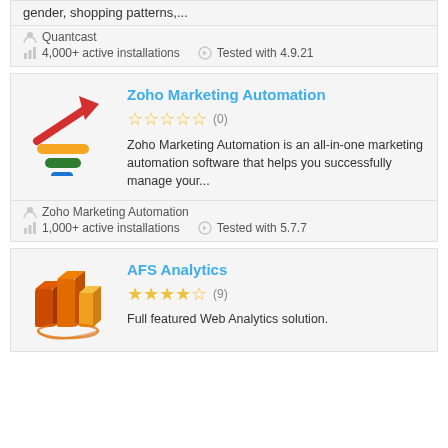gender, shopping patterns,...
Quantcast
4,000+ active installations   Tested with 4.9.21
[Figure (logo): Zoho Marketing Automation logo: colorful bar chart with upward arrow]
Zoho Marketing Automation
★★★★★ (0)
Zoho Marketing Automation is an all-in-one marketing automation software that helps you successfully manage your...
Zoho Marketing Automation
1,000+ active installations   Tested with 5.7.7
[Figure (logo): AFS Analytics logo: orange 3D bar chart with swirl]
AFS Analytics
★★★★☆ (9)
Full featured Web Analytics solution.